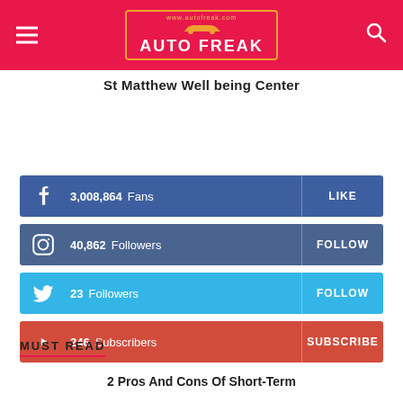AUTO FREAK — www.autofreak.com
St Matthew Well being Center
[Figure (infographic): Facebook social bar: 3,008,864 Fans — LIKE]
[Figure (infographic): Instagram social bar: 40,862 Followers — FOLLOW]
[Figure (infographic): Twitter social bar: 23 Followers — FOLLOW]
[Figure (infographic): YouTube social bar: 246 Subscribers — SUBSCRIBE]
MUST READ
2 Pros And Cons Of Short-Term